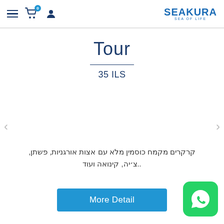SEAKURA SEA OF LIFE - navigation bar with hamburger menu, cart (0), user icon
Tour
35 ILS
קרקרים מקמח כוסמין מלא עם אצות אורגניות, פשתן, צ׳יה, קינואה ועוד..
More Detail